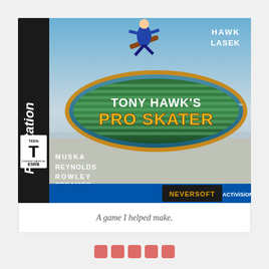[Figure (illustration): Tony Hawk's Pro Skater PlayStation game cover art showing Tony Hawk skateboarding, with skaters listed (Hawk, Lasek, Muska, Reynolds, Rowley, Steamer, Thomas), TEEN ESRB rating, Neversoft and Activision logos, PlayStation branding on the spine.]
A game I helped make.